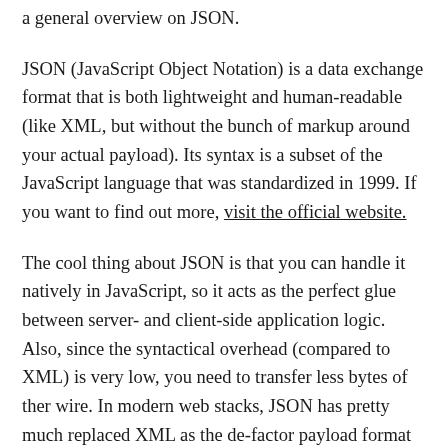a general overview on JSON.
JSON (JavaScript Object Notation) is a data exchange format that is both lightweight and human-readable (like XML, but without the bunch of markup around your actual payload). Its syntax is a subset of the JavaScript language that was standardized in 1999. If you want to find out more, visit the official website.
The cool thing about JSON is that you can handle it natively in JavaScript, so it acts as the perfect glue between server- and client-side application logic. Also, since the syntactical overhead (compared to XML) is very low, you need to transfer less bytes of ther wire. In modern web stacks, JSON has pretty much replaced XML as the de-factor payload format